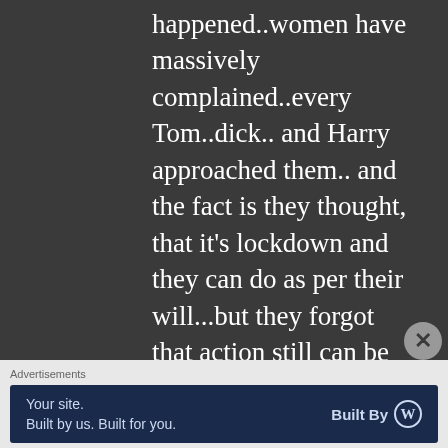happened..women have massively complained..every Tom..dick.. and Harry approached them.. and the fact is they thought, that it’s lockdown and they can do as per their will...but they forgot that action still can be taken. Where companies were looking for excuses, they got strong reasons to fire men..cases were very high in kolkata..delhi..Pune..mumbai..bangalore...
Advertisements
[Figure (other): Advertisement banner: 'Your site. Built by us. Built for you.' with 'Built By WordPress' logo on dark navy background]